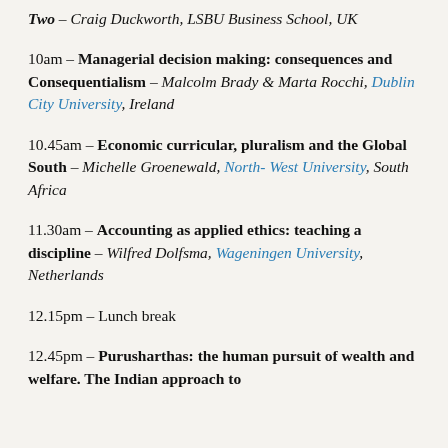Two – Craig Duckworth, LSBU Business School, UK
10am – Managerial decision making: consequences and Consequentialism – Malcolm Brady & Marta Rocchi, Dublin City University, Ireland
10.45am – Economic curricular, pluralism and the Global South – Michelle Groenewald, North- West University, South Africa
11.30am – Accounting as applied ethics: teaching a discipline – Wilfred Dolfsma, Wageningen University, Netherlands
12.15pm – Lunch break
12.45pm – Purusharthas: the human pursuit of wealth and welfare. The Indian approach to